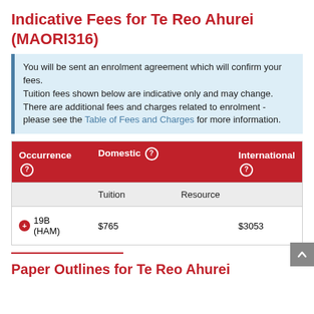Indicative Fees for Te Reo Ahurei (MAORI316)
You will be sent an enrolment agreement which will confirm your fees. Tuition fees shown below are indicative only and may change. There are additional fees and charges related to enrolment - please see the Table of Fees and Charges for more information.
| Occurrence | Domestic (Tuition) | Domestic (Resource) | International |
| --- | --- | --- | --- |
| 19B (HAM) | $765 |  | $3053 |
Paper Outlines for Te Reo Ahurei